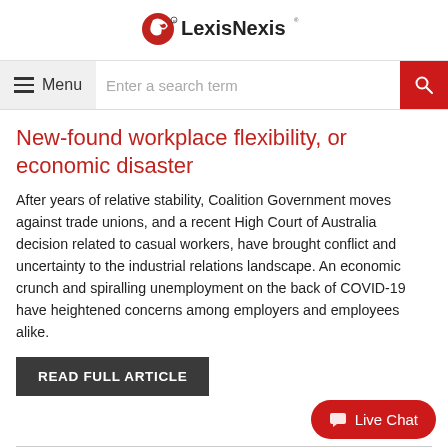LexisNexis
[Figure (logo): LexisNexis logo with red bird/globe icon and LexisNexis wordmark]
New-found workplace flexibility, or economic disaster
After years of relative stability, Coalition Government moves against trade unions, and a recent High Court of Australia decision related to casual workers, have brought conflict and uncertainty to the industrial relations landscape. An economic crunch and spiralling unemployment on the back of COVID-19 have heightened concerns among employers and employees alike.
READ FULL ARTICLE
22 JULY 2020